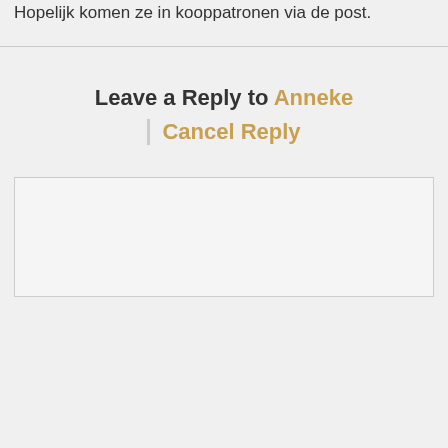Hopelijk komen ze in kooppatronen via de post.
Leave a Reply to Anneke Cancel Reply